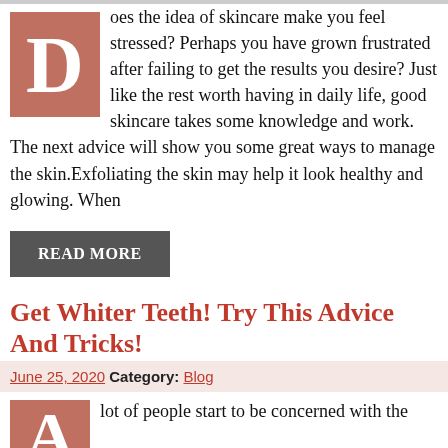oes the idea of skincare make you feel stressed? Perhaps you have grown frustrated after failing to get the results you desire? Just like the rest worth having in daily life, good skincare takes some knowledge and work. The next advice will show you some great ways to manage the skin.Exfoliating the skin may help it look healthy and glowing. When
READ MORE
Get Whiter Teeth! Try This Advice And Tricks!
June 25, 2020 Category: Blog
lot of people start to be concerned with the